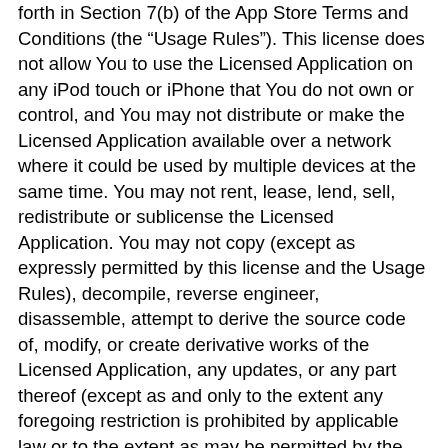forth in Section 7(b) of the App Store Terms and Conditions (the “Usage Rules”). This license does not allow You to use the Licensed Application on any iPod touch or iPhone that You do not own or control, and You may not distribute or make the Licensed Application available over a network where it could be used by multiple devices at the same time. You may not rent, lease, lend, sell, redistribute or sublicense the Licensed Application. You may not copy (except as expressly permitted by this license and the Usage Rules), decompile, reverse engineer, disassemble, attempt to derive the source code of, modify, or create derivative works of the Licensed Application, any updates, or any part thereof (except as and only to the extent any foregoing restriction is prohibited by applicable law or to the extent as may be permitted by the licensing terms governing use of any open sourced components included with the Licensed Application). Any attempt to do so is a violation of the rights of the Application Provider and its licensors. If You breach this